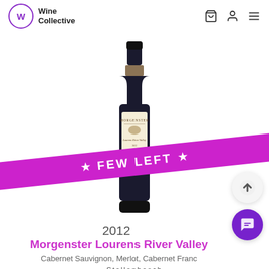Wine Collective
[Figure (photo): A bottle of Morgenster Lourens River Valley red wine with a cream label, with a magenta diagonal banner reading 'FEW LEFT' with star icons overlaid on the bottle.]
2012
Morgenster Lourens River Valley
Cabernet Sauvignon, Merlot, Cabernet Franc
Stellenbosch